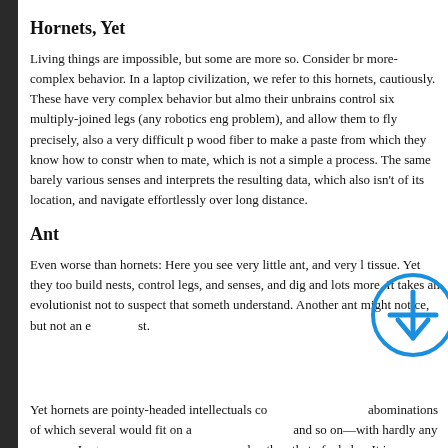Hornets, Yet
Living things are impossible, but some are more so. Consider br more-complex behavior. In a laptop civilization, we refer to this hornets, cautiously. These have very complex behavior but almo their unbrains control six multiply-joined legs (any robotics eng problem), and allow them to fly precisely, also a very difficult p wood fiber to make a paste from which they know how to constr when to mate, which is not a simple a process. The same barely various senses and interprets the resulting data, which also isn't of its location, and navigate effortlessly over long distance.
Ant
Even worse than hornets: Here you see very little ant, and very l tissue. Yet they too build nests, control legs, and senses, and dig and lots more. It takes an evolutionist not to suspect that someth understand. Another ant might notice, but not an evolutionist.
Yet hornets are pointy-headed intellectuals compared to pharaoh abominations of which several would fit on a hornet's eye. They and so on—with hardly any neurons. In general, the behavior of complex than that of whales. It is inexplicable, or at least inexpi